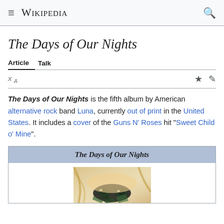Wikipedia
The Days of Our Nights
Article  Talk
The Days of Our Nights is the fifth album by American alternative rock band Luna, currently out of print in the United States. It includes a cover of the Guns N' Roses hit "Sweet Child o' Mine".
| The Days of Our Nights |
| --- |
| [album cover image] |